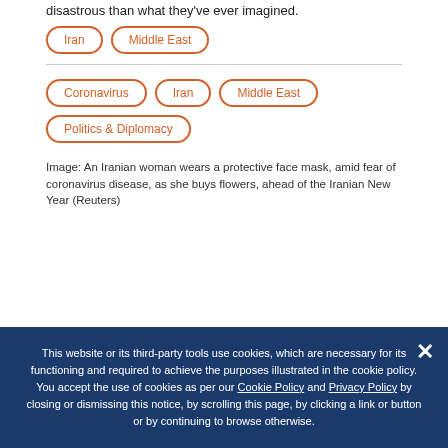disastrous than what they've ever imagined.
Iran
Middle East
Coronavirus
Iran
Middle East
Politics & Diplomacy
Image: An Iranian woman wears a protective face mask, amid fear of coronavirus disease, as she buys flowers, ahead of the Iranian New Year (Reuters)
This website or its third-party tools use cookies, which are necessary for its functioning and required to achieve the purposes illustrated in the cookie policy. You accept the use of cookies as per our Cookie Policy and Privacy Policy by closing or dismissing this notice, by scrolling this page, by clicking a link or button or by continuing to browse otherwise.